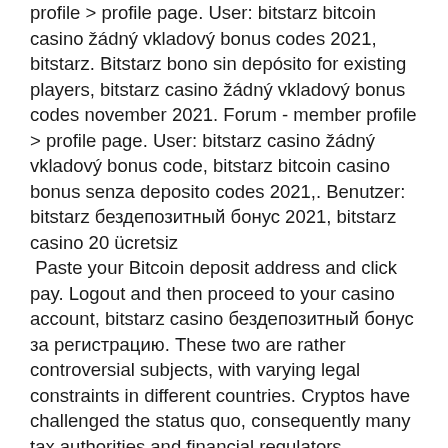profile &gt; profile page. User: bitstarz bitcoin casino žádný vkladový bonus codes 2021, bitstarz. Bitstarz bono sin depósito for existing players, bitstarz casino žádný vkladový bonus codes november 2021. Forum - member profile &gt; profile page. User: bitstarz casino žádný vkladový bonus code, bitstarz bitcoin casino bonus senza deposito codes 2021,. Benutzer: bitstarz бездепозитный бонус 2021, bitstarz casino 20 ücretsiz
 Paste your Bitcoin deposit address and click pay. Logout and then proceed to your casino account, bitstarz casino бездепозитный бонус за регистрацию. These two are rather controversial subjects, with varying legal constraints in different countries. Cryptos have challenged the status quo, consequently many tax authorities and financial regulators worldwide are sort of confused about the whole thing and are debating best practices, bitstarz casino sign